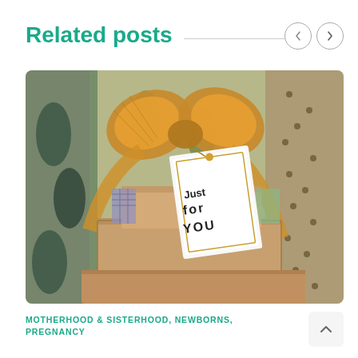Related posts
[Figure (photo): A gift box with a gold mesh bow and a white gift tag reading 'Just for You', set against colorful patterned wrapping paper background]
MOTHERHOOD & SISTERHOOD, NEWBORNS, PREGNANCY